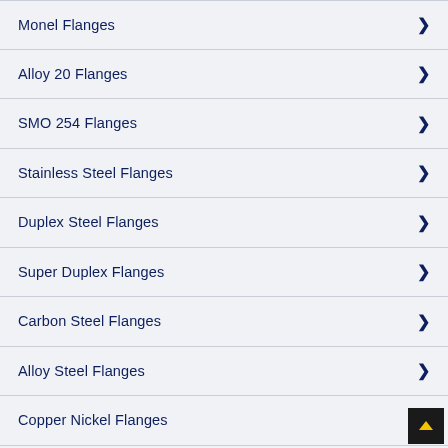Monel Flanges
Alloy 20 Flanges
SMO 254 Flanges
Stainless Steel Flanges
Duplex Steel Flanges
Super Duplex Flanges
Carbon Steel Flanges
Alloy Steel Flanges
Copper Nickel Flanges